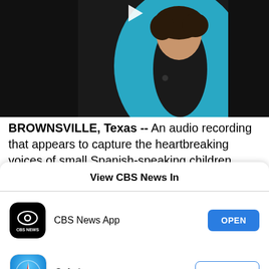[Figure (screenshot): Video thumbnail showing a woman in a blue blazer against a dark background, with a play button triangle at the top center]
BROWNSVILLE, Texas -- An audio recording that appears to capture the heartbreaking voices of small Spanish-speaking children crying out for their
View CBS News In
[Figure (screenshot): CBS News App row with CBS News app icon (black background with CBS eye logo), label 'CBS News App', and blue OPEN button]
[Figure (screenshot): Safari row with Safari compass icon, label 'Safari', and outlined blue CONTINUE button]